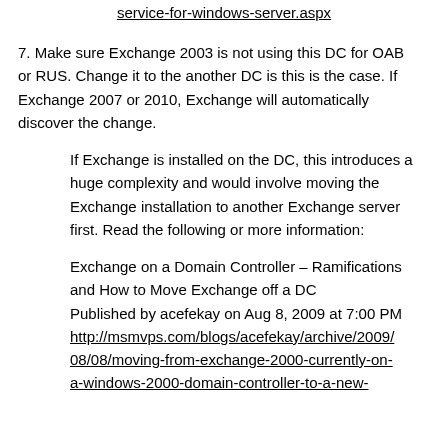service-for-windows-server.aspx
7. Make sure Exchange 2003 is not using this DC for OAB or RUS. Change it to the another DC is this is the case. If Exchange 2007 or 2010, Exchange will automatically discover the change.
If Exchange is installed on the DC, this introduces a huge complexity and would involve moving the Exchange installation to another Exchange server first. Read the following or more information:
Exchange on a Domain Controller – Ramifications and How to Move Exchange off a DC
Published by acefekay on Aug 8, 2009 at 7:00 PM
http://msmvps.com/blogs/acefekay/archive/2009/08/08/moving-from-exchange-2000-currently-on-a-windows-2000-domain-controller-to-a-new-